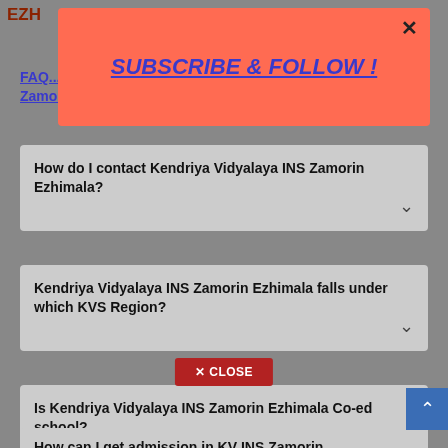EZH...
FAQ... Kendriya Vidyalaya INS Zamorin Ezhimala
[Figure (screenshot): Subscribe & Follow popup overlay in orange/salmon color with blue italic underlined text and a close X button]
How do I contact Kendriya Vidyalaya INS Zamorin Ezhimala?
Kendriya Vidyalaya INS Zamorin Ezhimala falls under which KVS Region?
Is Kendriya Vidyalaya INS Zamorin Ezhimala Co-ed school?
How can I get admission in KV INS Zamorin
CLOSE